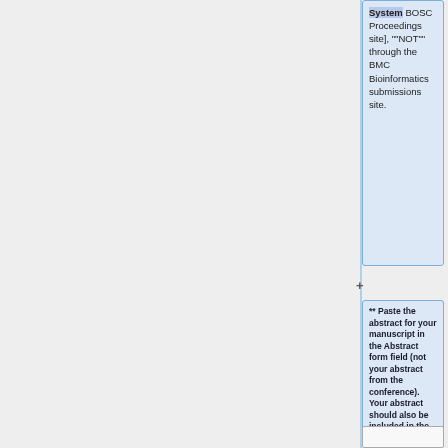System BOSC Proceedings site], ""NOT"" through the BMC Bioinformatics submissions site.
** Paste the abstract for your manuscript in the Abstract form field (not your abstract from the conference). Your abstract should also be included in the main manuscript you upload.